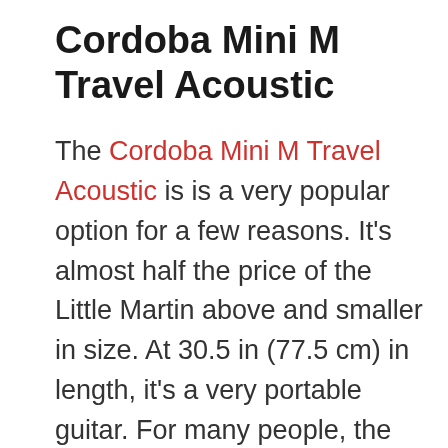Cordoba Mini M Travel Acoustic
The Cordoba Mini M Travel Acoustic is is a very popular option for a few reasons. It's almost half the price of the Little Martin above and smaller in size. At 30.5 in (77.5 cm) in length, it's a very portable guitar. For many people, the lower price and smaller size are enough to choose the Cordoba. But an important